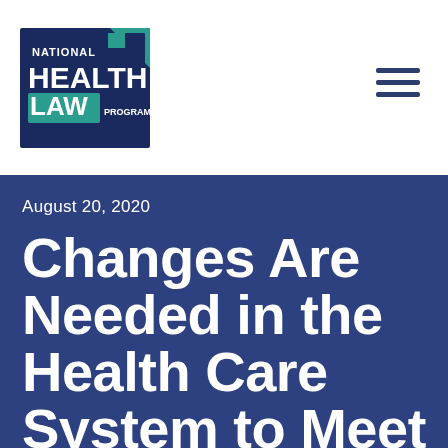[Figure (logo): National Health Law Program logo — dark blue rectangle with teal/green accent, text reading NATIONAL HEALTH LAW PROGRAM]
August 20, 2020
Changes Are Needed in the Health Care System to Meet